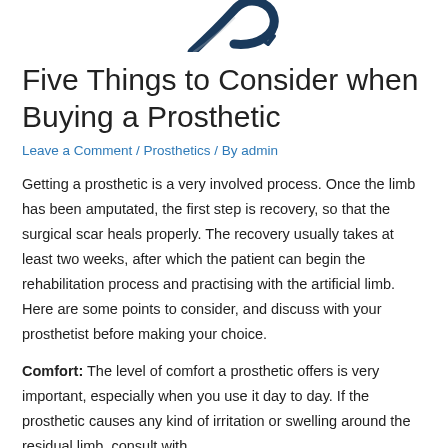[Figure (logo): Partial logo/icon — a dark teal/navy curved swoosh shape, cropped at top of page]
Five Things to Consider when Buying a Prosthetic
Leave a Comment / Prosthetics / By admin
Getting a prosthetic is a very involved process. Once the limb has been amputated, the first step is recovery, so that the surgical scar heals properly. The recovery usually takes at least two weeks, after which the patient can begin the rehabilitation process and practising with the artificial limb. Here are some points to consider, and discuss with your prosthetist before making your choice.
Comfort: The level of comfort a prosthetic offers is very important, especially when you use it day to day. If the prosthetic causes any kind of irritation or swelling around the residual limb, consult with